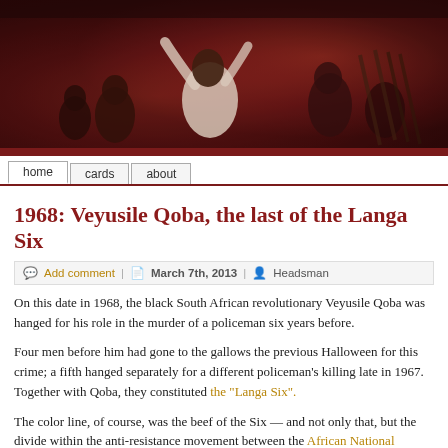[Figure (illustration): Dark reddish-brown painting banner showing historical figures, one with arms raised in white garment, others in background, simulating a classical painting header for a blog]
home | cards | about
1968: Veyusile Qoba, the last of the Langa Six
Add comment | March 7th, 2013 | Headsman
On this date in 1968, the black South African revolutionary Veyusile Qoba was hanged for his role in the murder of a policeman six years before.
Four men before him had gone to the gallows the previous Halloween for this crime; a fifth hanged separately for a different policeman's killing late in 1967. Together with Qoba, they constituted the “Langa Six”.
The color line, of course, was the beef of the Six — and not only that, but the divide within the anti-resistance movement between the African National Congress (ANC) and the Pan Africanist Congress (PAC).
The Langa Six belonged to the latter entity’s military wing, Poqo (later to develop into the Azania People’s Liberation Army, but we’ll use the period-appropriate original nomenclature here). After police response to a PAC-organized 1960